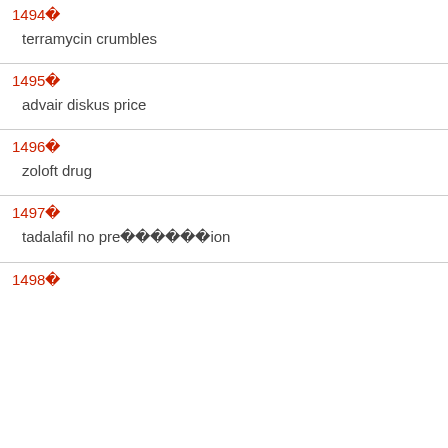1494  terramycin crumbles
1495  advair diskus price
1496  zoloft drug
1497  tadalafil no pre      ion
1498 